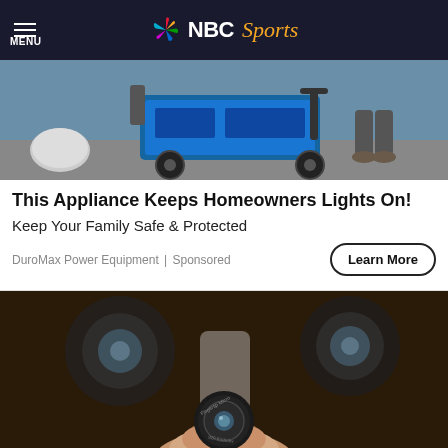NBC Sports
[Figure (photo): A portable generator (DuroMax brand) with wheels, blue and black coloring, sitting outdoors on a surface next to a propane tank]
This Appliance Keeps Homeowners Lights On!
Keep Your Family Safe & Protected
DuroMax Power Equipment | Sponsored
[Figure (photo): A tiny fingertip-sized camera lens (labeled 'Fingertip Micro') held between fingers, with blurred security cameras in the background]